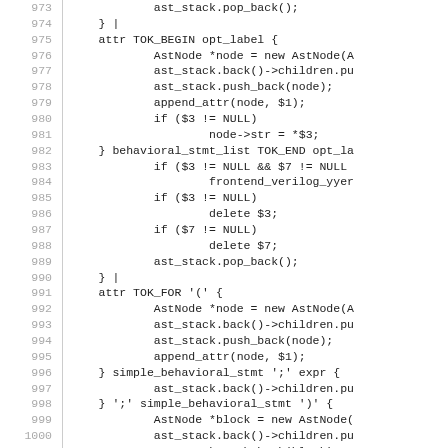[Figure (screenshot): Source code listing showing lines 973-1002 of a Verilog parser/compiler C++ file, with line numbers on the left and code on the right. Code includes AST node manipulation, behavioral statement parsing grammar rules.]